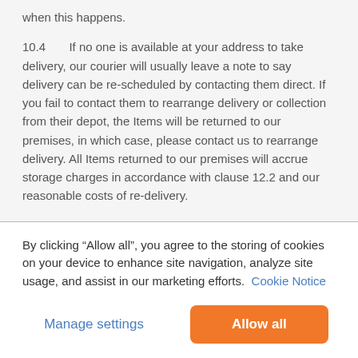when this happens.
10.4    If no one is available at your address to take delivery, our courier will usually leave a note to say delivery can be rescheduled by contacting them direct. If you fail to contact them to rearrange delivery or collection from their depot, the Items will be returned to our premises, in which case, please contact us to rearrange delivery. All Items returned to our premises will accrue storage charges in accordance with clause 12.2 and our reasonable costs of re-delivery.
10.5    Delivery of an Order shall be completed when we deliver the Items to the address you gave us.
10.6   (partial, clipped)
By clicking “Allow all”, you agree to the storing of cookies on your device to enhance site navigation, analyze site usage, and assist in our marketing efforts. Cookie Notice
Manage settings
Allow all